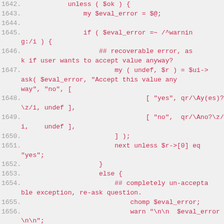Code listing lines 1642-1657, Perl source code
1642.    unless ( $ok ) {
1643.        my $eval_error = $@;
1644.
1645.        if ( $eval_error =~ /^warning:/i ) {
1646.            ## recoverable error, ask if user wants to accept value anyway?
1647.                my ( undef, $r ) = $ui->ask( $eval_error, "Accept this value anyway", "no", [
1648.                        [ "yes", qr/\Ay(es)?\z/i, undef ],
1649.                        [ "no",  qr/\Ano?\z/i,   undef ],
1650.                ] );
1651.                next unless $r->[0] eq "yes";
1652.            }
1653.            else {
1654.                ## completely un-acceptable exception, re-ask question.
1655.                chomp $eval_error;
1656.                warn "\n\n  $eval_error\n\n";
1657.                next;